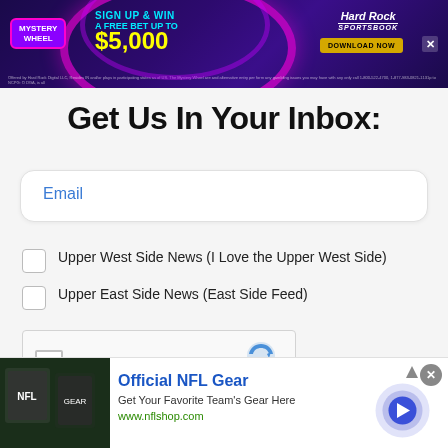[Figure (screenshot): Hard Rock Sportsbook Mystery Wheel advertisement banner. Purple/dark background with neon accents, archer/athlete silhouette. Text: MYSTERY WHEEL, SIGN UP & WIN A FREE BET UP TO $5,000, Hard Rock Sportsbook, DOWNLOAD NOW button, close X button.]
Get Us In Your Inbox:
Email
Upper West Side News (I Love the Upper West Side)
Upper East Side News (East Side Feed)
[Figure (screenshot): reCAPTCHA widget with checkbox, 'I'm not a robot' text, reCAPTCHA logo, Privacy and Terms links.]
[Figure (screenshot): Bottom advertisement: Official NFL Gear - Get Your Favorite Team's Gear Here, www.nflshop.com, with NFL gear photo on left and navigation arrow on right.]